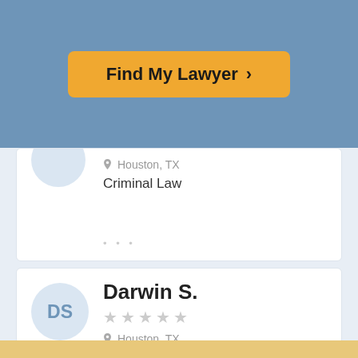[Figure (screenshot): Find My Lawyer button with orange background and chevron arrow]
Houston, TX
Criminal Law
Darwin S.
Houston, TX
Criminal Law
Show More